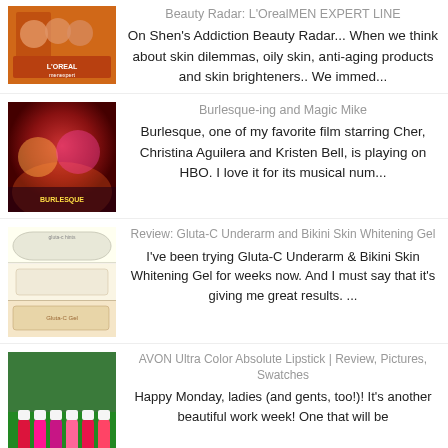[Figure (photo): L'Oreal Men Expert product/model photo with orange packaging]
Beauty Radar: L'OrealMEN EXPERT LINE
On Shen's Addiction Beauty Radar... When we think about skin dilemmas, oily skin, anti-aging products and skin brighteners.. We immed...
[Figure (photo): Burlesque movie poster image with colorful performers]
Burlesque-ing and Magic Mike
Burlesque, one of my favorite film starring Cher, Christina Aguilera and Kristen Bell, is playing on HBO.    I love it for its musical num...
[Figure (photo): Gluta-C Underarm and Bikini Skin Whitening Gel product photos]
Review: Gluta-C Underarm and Bikini Skin Whitening Gel
I've been trying Gluta-C Underarm & Bikini Skin Whitening Gel for weeks now. And I must say that it's giving me great results. ...
[Figure (photo): AVON lipstick swatches in pink and red shades]
AVON Ultra Color Absolute Lipstick | Review, Pictures, Swatches
Happy Monday, ladies (and gents, too!)! It's another beautiful work week! One that will be